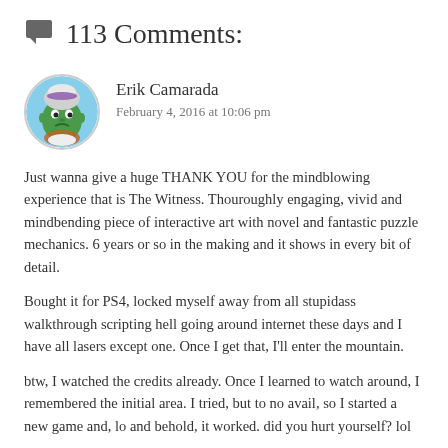113 Comments:
Erik Camarada
February 4, 2016 at 10:06 pm
Just wanna give a huge THANK YOU for the mindblowing experience that is The Witness. Thouroughly engaging, vivid and mindbending piece of interactive art with novel and fantastic puzzle mechanics. 6 years or so in the making and it shows in every bit of detail.
Bought it for PS4, locked myself away from all stupidass walkthrough scripting hell going around internet these days and I have all lasers except one. Once I get that, I'll enter the mountain.
btw, I watched the credits already. Once I learned to watch around, I remembered the initial area. I tried, but to no avail, so I started a new game and, lo and behold, it worked. did you hurt yourself? lol
Reply